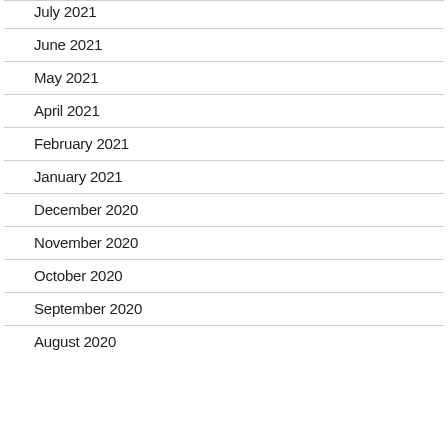July 2021
June 2021
May 2021
April 2021
February 2021
January 2021
December 2020
November 2020
October 2020
September 2020
August 2020